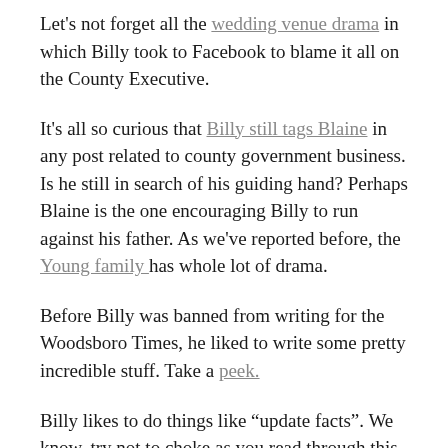Let's not forget all the wedding venue drama in which Billy took to Facebook to blame it all on the County Executive.
It's all so curious that Billy still tags Blaine in any post related to county government business. Is he still in search of his guiding hand? Perhaps Blaine is the one encouraging Billy to run against his father. As we've reported before, the Young family has whole lot of drama.
Before Billy was banned from writing for the Woodsboro Times, he liked to write some pretty incredible stuff. Take a peek.
Billy likes to do things like “update facts”. We know, try not to choke as you read through this one